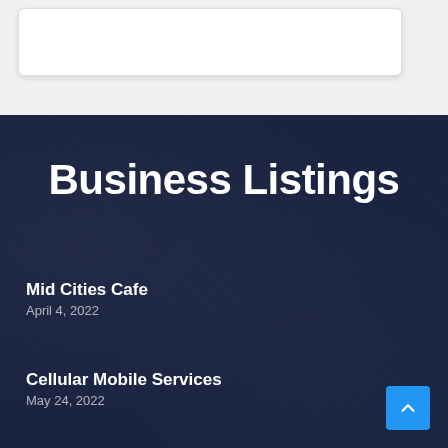[Figure (screenshot): White card/panel with rounded corners and a light border, partially visible at the top of the page on a light gray background]
Business Listings
Mid Cities Cafe
April 4, 2022
Cellular Mobile Services
May 24, 2022